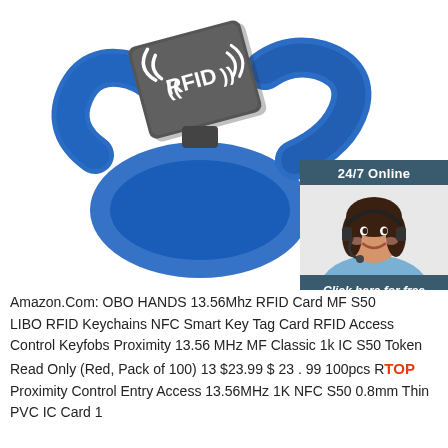[Figure (photo): RFID blue silicone wristband with dark grey RFID card/tag attached, with wireless signal symbol and text '((RFID))' on the card, on white background. Overlaid with a customer service chat widget showing a woman with headset, '24/7 Online' header, 'Click here for free chat!' text, and an orange QUOTATION button.]
Amazon.Com: OBO HANDS 13.56Mhz RFID Card MF S50 LIBO RFID Keychains NFC Smart Key Tag Card RFID Access Control Keyfobs Proximity 13.56 MHz MF Classic 1k IC S50 Token Read Only (Red, Pack of 100) 13 $23.99 $ 23 . 99 100pcs RFID Proximity Control Entry Access 13.56MHz 1K NFC S50 0.8mm Thin PVC IC Card 1